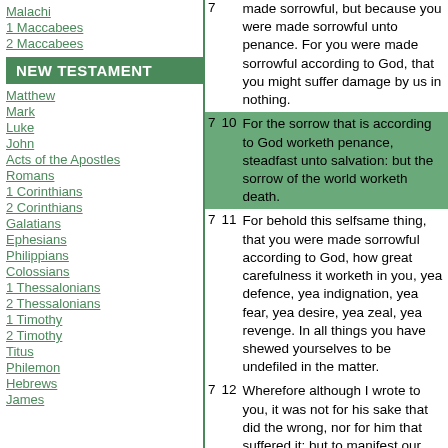Malachi
1 Maccabees
2 Maccabees
NEW TESTAMENT
Matthew
Mark
Luke
John
Acts of the Apostles
Romans
1 Corinthians
2 Corinthians
Galatians
Ephesians
Philippians
Colossians
1 Thessalonians
2 Thessalonians
1 Timothy
2 Timothy
Titus
Philemon
Hebrews
James
| chapter | verse | text |
| --- | --- | --- |
| 7 |  | made sorrowful, but because you were made sorrowful unto penance. For you were made sorrowful according to God, that you might suffer damage by us in nothing. |
| 7 | 10 | For the sorrow that is according to God worketh penance, steadfast unto salvation: but the sorrow of the world worketh death. |
| 7 | 11 | For behold this selfsame thing, that you were made sorrowful according to God, how great carefulness it worketh in you, yea defence, yea indignation, yea fear, yea desire, yea zeal, yea revenge. In all things you have shewed yourselves to be undefiled in the matter. |
| 7 | 12 | Wherefore although I wrote to you, it was not for his sake that did the wrong, nor for him that suffered it: but to manifest our carefulness that we have for you |
| 7 | 13 | Before God: therefore we were comforted. But in our consolation we did the more abundantly rejoice for the joy of Titus, because his spirit was |